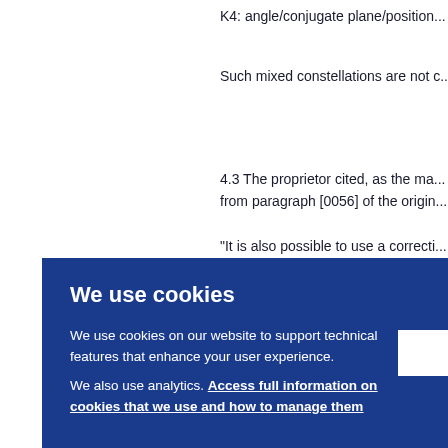K4: angle/conjugate plane/position...
Such mixed constellations are not c...
4.3 The proprietor cited, as the ma... from paragraph [0056] of the origin...
"It is also possible to use a correcti... transmittances different according t... correction filter with a transmittance...
We use cookies
We use cookies on our website to support technical features that enhance your user experience.
We also use analytics. Access full information on cookies that we use and how to manage them
unco... d sync... ce, of... ange... positi... of Fig... odime...